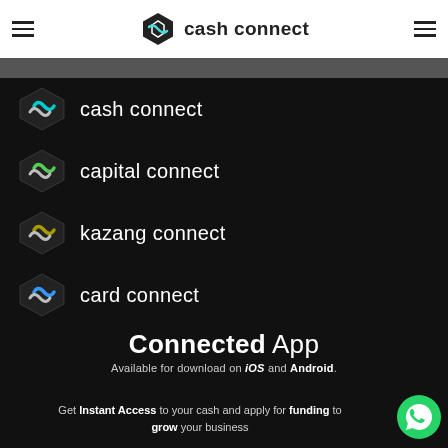cash connect
[Figure (logo): cash connect logo with teal chain-link icon]
[Figure (logo): capital connect logo with green chain-link icon]
[Figure (logo): kazang connect logo with olive/gold chain-link icon]
[Figure (logo): card connect logo with blue chain-link icon]
Connected App
Available for download on iOS and Android.
Get Instant Access to your cash and apply for funding to grow your business